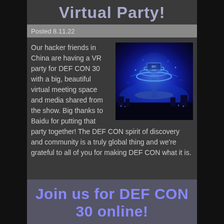Virtual Party!
Posted 8.11.22
[Figure (illustration): A futuristic VR sci-fi virtual city scene with glowing blue neon lights, floating structures, and a DEF CON logo displayed in holographic form.]
Our hacker friends in China are having a VR party for DEF CON 30 with a big, beautiful virtual meeting space and media shared from the show. Big thanks to Baidu for putting that party together! The DEF CON spirit of discovery and community is a truly global thing and we're grateful to all of you for making DEF CON what it is.
Join us for DEF CON 30 online!